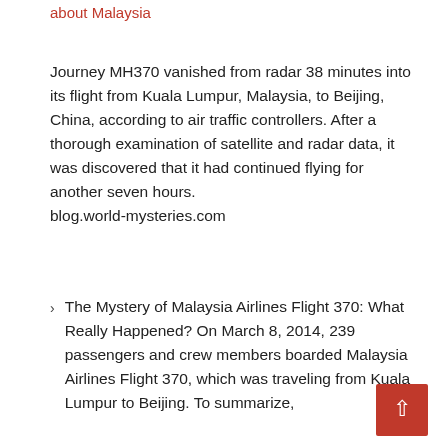about Malaysia
Journey MH370 vanished from radar 38 minutes into its flight from Kuala Lumpur, Malaysia, to Beijing, China, according to air traffic controllers. After a thorough examination of satellite and radar data, it was discovered that it had continued flying for another seven hours.
blog.world-mysteries.com
The Mystery of Malaysia Airlines Flight 370: What Really Happened? On March 8, 2014, 239 passengers and crew members boarded Malaysia Airlines Flight 370, which was traveling from Kuala Lumpur to Beijing. To summarize,